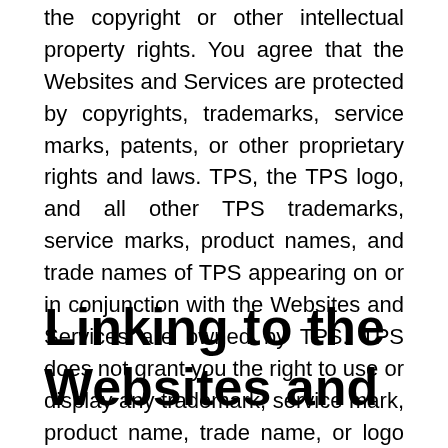the copyright or other intellectual property rights. You agree that the Websites and Services are protected by copyrights, trademarks, service marks, patents, or other proprietary rights and laws. TPS, the TPS logo, and all other TPS trademarks, service marks, product names, and trade names of TPS appearing on or in conjunction with the Websites and Services are owned by TPS. TPS does not grant you the right to use or display any trademark, service mark, product name, trade name, or logo appearing on the Websites or the Services without TPS's prior written consent.
Linking to the Websites and